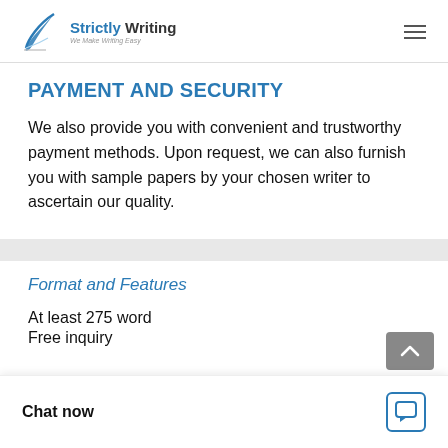Strictly Writing — We Make Writing Easy
PAYMENT AND SECURITY
We also provide you with convenient and trustworthy payment methods. Upon request, we can also furnish you with sample papers by your chosen writer to ascertain our quality.
Format and Features
At least 275 word
Free inquiry